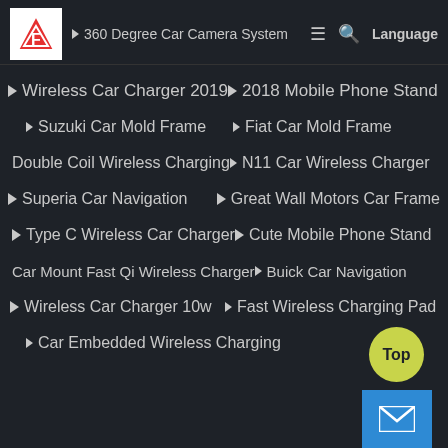360 Degree Car Camera System — navigation menu header with logo, hamburger, search, Language
Wireless Car Charger 2019
2018 Mobile Phone Stand
Suzuki Car Mold Frame
Fiat Car Mold Frame
Double Coil Wireless Charging
N11 Car Wireless Charger
Superia Car Navigation
Great Wall Motors Car Frame
Type C Wireless Car Charger
Cute Mobile Phone Stand
Car Mount Fast Qi Wireless Charger
Buick Car Navigation
Wireless Car Charger 10w
Fast Wireless Charging Pad
Car Embedded Wireless Charging